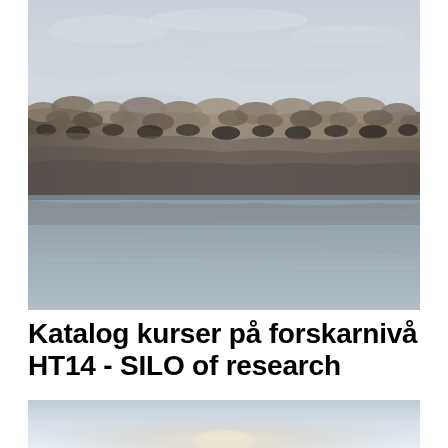[Figure (photo): Photograph of a stone breakwater or seawall made of large rocks and boulders, with calm grey water in the foreground and an overcast sky above. The horizon shows the top of the rocky embankment.]
Katalog kurser på forskarnivå HT14 - SILO of research
[Figure (photo): Partial photograph showing a bright sky or light source near the horizon, cropped at bottom of page.]